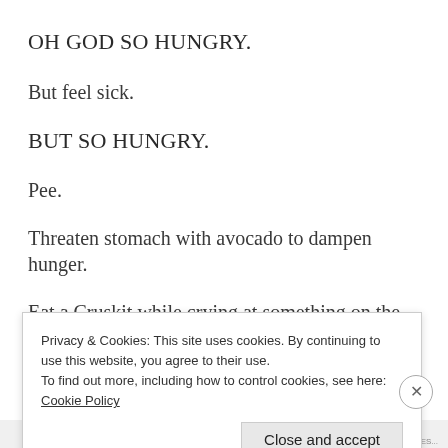OH GOD SO HUNGRY.
But feel sick.
BUT SO HUNGRY.
Pee.
Threaten stomach with avocado to dampen hunger.
Eat a Cruskit while crying at something on the
Privacy & Cookies: This site uses cookies. By continuing to use this website, you agree to their use.
To find out more, including how to control cookies, see here: Cookie Policy
Close and accept